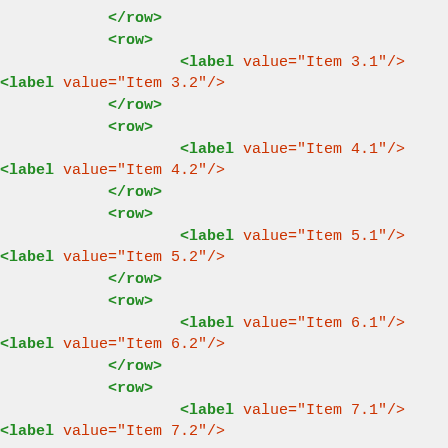XML code snippet showing rows with label elements: </row>, <row>, <label value="Item 3.1"/>, <label value="Item 3.2"/>, </row>, <row>, <label value="Item 4.1"/>, <label value="Item 4.2"/>, </row>, <row>, <label value="Item 5.1"/>, <label value="Item 5.2"/>, </row>, <row>, <label value="Item 6.1"/>, <label value="Item 6.2"/>, </row>, <row>, <label value="Item 7.1"/>, <label value="Item 7.2"/>